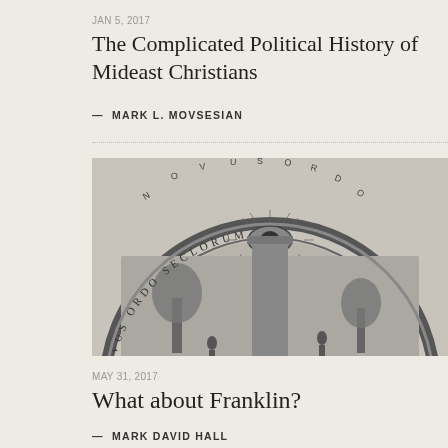JAN 5, 2017
The Complicated Political History of Mideast Christians
— MARK L. MOVSESIAN
[Figure (photo): Black and white engraving of a circular seal or medal showing a scene with figures, trees, and the Eye of Providence at top, with text around the border reading partially visible words.]
MAY 31, 2017
What about Franklin?
— MARK DAVID HALL